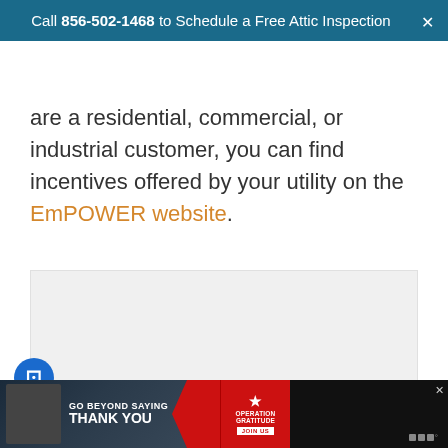Call 856-502-1468 to Schedule a Free Attic Inspection
are a residential, commercial, or industrial customer, you can find incentives offered by your utility on the EmPOWER website.
[Figure (photo): Carousel image area with navigation dots (3 dots visible)]